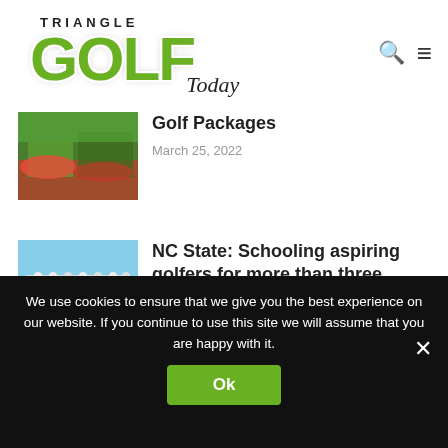[Figure (logo): Triangle Golf Today logo with green GOLF text and italic Today script]
[Figure (photo): Golf course with red flowers and green fairway]
Golf Packages
March 25, 2022
[Figure (photo): Group of golfers in white shirts standing on grass]
NC State: Schooling aspiring golfers for more than three decades
March 16, 2022
We use cookies to ensure that we give you the best experience on our website. If you continue to use this site we will assume that you are happy with it.